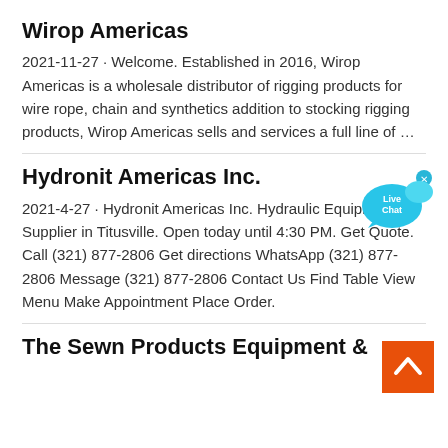Wirop Americas
2021-11-27 · Welcome. Established in 2016, Wirop Americas is a wholesale distributor of rigging products for wire rope, chain and synthetics addition to stocking rigging products, Wirop Americas sells and services a full line of …
[Figure (illustration): Live Chat bubble icon with close button, in blue/cyan color]
Hydronit Americas Inc.
2021-4-27 · Hydronit Americas Inc. Hydraulic Equipment Supplier in Titusville. Open today until 4:30 PM. Get Quote. Call (321) 877-2806 Get directions WhatsApp (321) 877-2806 Message (321) 877-2806 Contact Us Find Table View Menu Make Appointment Place Order.
[Figure (illustration): Back to top orange button with upward chevron arrow]
The Sewn Products Equipment &